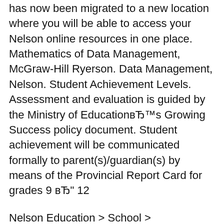has now been migrated to a new location where you will be able to access your Nelson online resources in one place. Mathematics of Data Management, McGraw-Hill Ryerson. Data Management, Nelson. Student Achievement Levels. Assessment and evaluation is guided by the Ministry of Education's Growing Success policy document. Student achievement will be communicated formally to parent(s)/guardian(s) by means of the Provincial Report Card for grades 9 – 12
Nelson Education > School > Mathematics > Mathematics of Data Management > Student Centre > Web